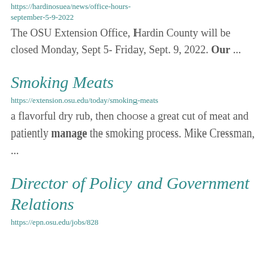https://hardinosuea/news/office-hours-september-5-9-2022
The OSU Extension Office, Hardin County will be closed Monday, Sept 5- Friday, Sept. 9, 2022. Our ...
Smoking Meats
https://extension.osu.edu/today/smoking-meats
a flavorful dry rub, then choose a great cut of meat and patiently manage the smoking process. Mike Cressman, ...
Director of Policy and Government Relations
https://epn.osu.edu/jobs/828